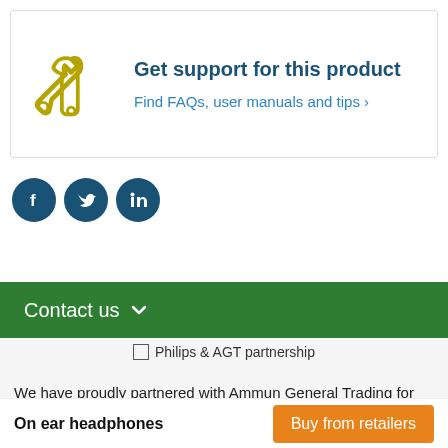[Figure (illustration): Support box with wrench icon on the left, and text 'Get support for this product' and 'Find FAQs, user manuals and tips ›' on the right]
[Figure (illustration): Three social media circular icons: Facebook, Twitter, LinkedIn — all dark blue]
Contact us ∨
[Figure (illustration): Philips & AGT partnership image placeholder with text label]
We have proudly partnered with Ammun General Trading for
On ear headphones
Buy from retailers